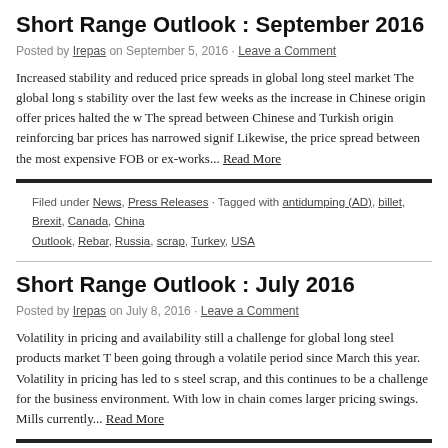Short Range Outlook : September 2016
Posted by Irepas on September 5, 2016 · Leave a Comment
Increased stability and reduced price spreads in global long steel market The global long s... stability over the last few weeks as the increase in Chinese origin offer prices halted the w... The spread between Chinese and Turkish origin reinforcing bar prices has narrowed signif... Likewise, the price spread between the most expensive FOB or ex-works... Read More
Filed under News, Press Releases · Tagged with antidumping (AD), billet, Brexit, Canada, China... Outlook, Rebar, Russia, scrap, Turkey, USA
Short Range Outlook : July 2016
Posted by Irepas on July 8, 2016 · Leave a Comment
Volatility in pricing and availability still a challenge for global long steel products market... been going through a volatile period since March this year. Volatility in pricing has led to s... steel scrap, and this continues to be a challenge for the business environment. With low in... chain comes larger pricing swings. Mills currently... Read More
Filed under News, Press Releases · Tagged with Brexit, China, Europe, Far East, iron ore, Middl... Turkey, USA